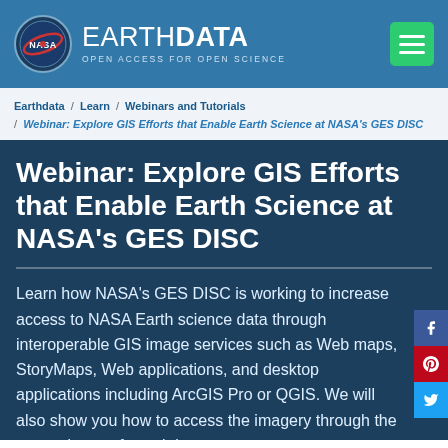NASA EARTHDATA — OPEN ACCESS FOR OPEN SCIENCE
Earthdata / Learn / Webinars and Tutorials / Webinar: Explore GIS Efforts that Enable Earth Science at NASA's GES DISC
Webinar: Explore GIS Efforts that Enable Earth Science at NASA's GES DISC
Learn how NASA's GES DISC is working to increase access to NASA Earth science data through interoperable GIS image services such as Web maps, StoryMaps, Web applications, and desktop applications including ArcGIS Pro or QGIS. We will also show you how to access the imagery through the convenience of a web browser...